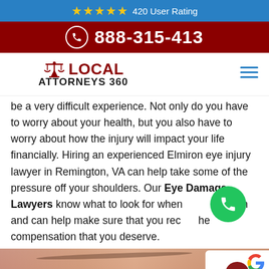★★★★★ 420 User Rating
888-315-413
[Figure (logo): Local Attorneys 360 logo with scales of justice icon]
be a very difficult experience. Not only do you have to worry about your health, but you also have to worry about how the injury will impact your life financially. Hiring an experienced Elmiron eye injury lawyer in Remington, VA can help take some of the pressure off your shoulders. Our Eye Damage Lawyers know what to look for when filing a claim and can help make sure that you receive the compensation that you deserve.
[Figure (photo): Close-up photo of a person's eye, showing eyebrow and eye area]